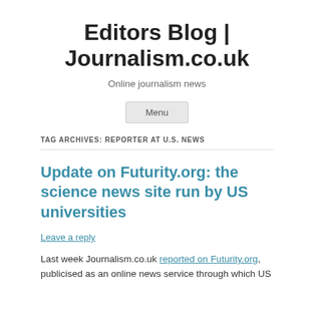Editors Blog | Journalism.co.uk
Online journalism news
Menu
TAG ARCHIVES: REPORTER AT U.S. NEWS
Update on Futurity.org: the science news site run by US universities
Leave a reply
Last week Journalism.co.uk reported on Futurity.org, publicised as an online news service through which US